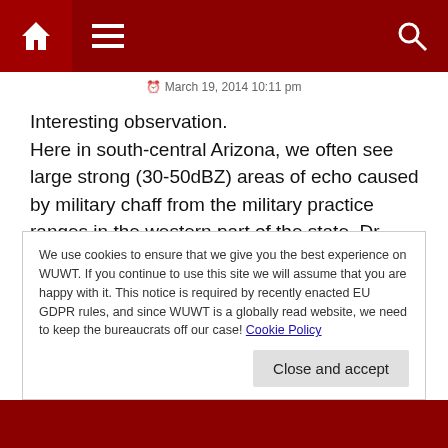Navigation bar with home, menu, and search icons
March 19, 2014 10:11 pm
Interesting observation.
Here in south-central Arizona, we often see large strong (30-50dBZ) areas of echo caused by military chaff from the military practice ranges in the western part of the state. Dr. Robert Maddox, former head of NSSL, studied these an tentatively concluded that as the chaff drifts eastward, it inhibits lightning in thunderstorms. At his talk, he showed a day when there were many severe thunderstorms across the
We use cookies to ensure that we give you the best experience on WUWT. If you continue to use this site we will assume that you are happy with it. This notice is required by recently enacted EU GDPR rules, and since WUWT is a globally read website, we need to keep the bureaucrats off our case! Cookie Policy
Close and accept